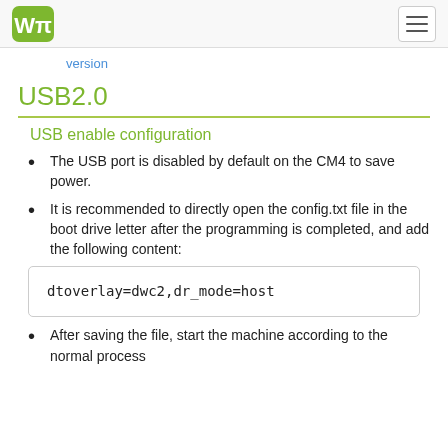version
USB2.0
USB enable configuration
The USB port is disabled by default on the CM4 to save power.
It is recommended to directly open the config.txt file in the boot drive letter after the programming is completed, and add the following content:
dtoverlay=dwc2,dr_mode=host
After saving the file, start the machine according to the normal process